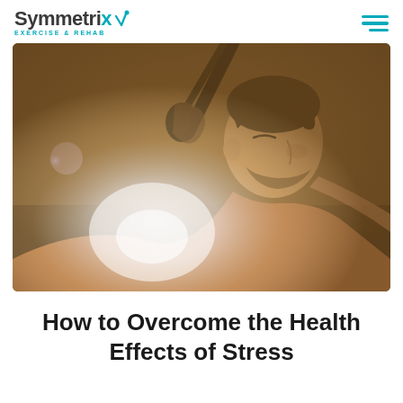Symmetrix Exercise & Rehab
[Figure (photo): A shirtless man exercising with TRX/suspension straps in a gym, viewed from the side, with a bright light flare in the background. Warm golden-brown tones.]
How to Overcome the Health Effects of Stress